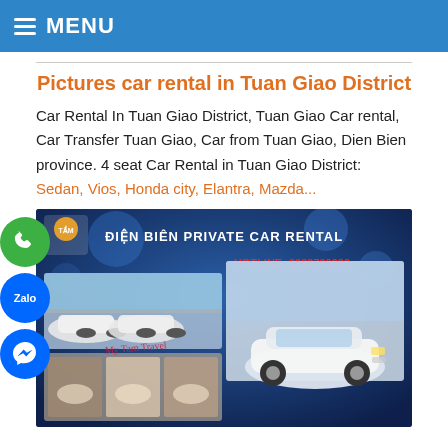MENU
Pictures car rental in Tuan Giao District
Car Rental In Tuan Giao District, Tuan Giao Car rental, Car Transfer Tuan Giao, Car from Tuan Giao, Dien Bien province. 4 seat Car Rental in Tuan Giao District: Sedan, Vios, Honda city, Elantra, Mazda...
[Figure (photo): Dien Bien Private Car Rental promotional image showing multiple white cars and interior seats, with hotline 0939790983]